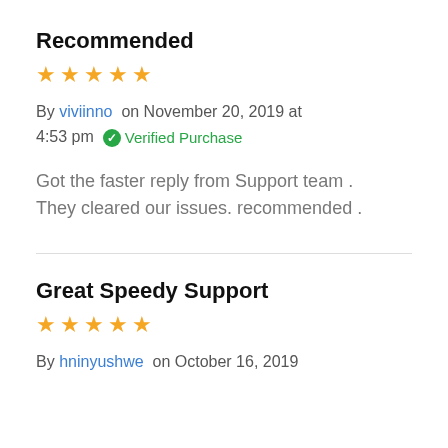Recommended
[Figure (other): 5 orange stars rating]
By viviinno on November 20, 2019 at 4:53 pm ✓ Verified Purchase
Got the faster reply from Support team . They cleared our issues. recommended .
Great Speedy Support
[Figure (other): 5 orange stars rating]
By hninyushwe on October 16, 2019